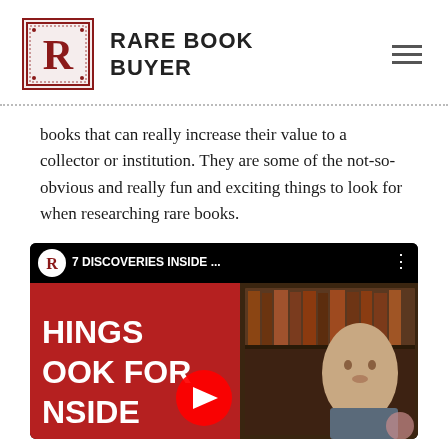RARE BOOK BUYER
books that can really increase their value to a collector or institution. They are some of the not-so-obvious and really fun and exciting things to look for when researching rare books.
[Figure (screenshot): YouTube video thumbnail showing '7 DISCOVERIES INSIDE ...' with the Rare Book Buyer logo, a man in front of bookshelves, red panel with text 'HINGS OOK FOR NSIDE', and a YouTube play button overlay.]